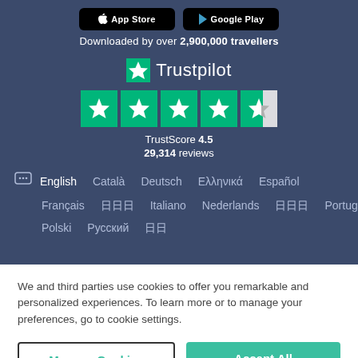[Figure (screenshot): App Store and Google Play store buttons at top]
Downloaded by over 2,900,000 travellers
[Figure (logo): Trustpilot logo with green star and Trustpilot text]
[Figure (infographic): 5-star rating display with 4 full green stars and 1 half star]
TrustScore 4.5
29,314 reviews
English  Català  Deutsch  Ελληνικά  Español
Français  日本語  Italiano  Nederlands  한국어  Português
Polski  Русский  中文
We and third parties use cookies to offer you remarkable and personalized experiences. To learn more or to manage your preferences, go to cookie settings.
Manage Cookies
Accept All